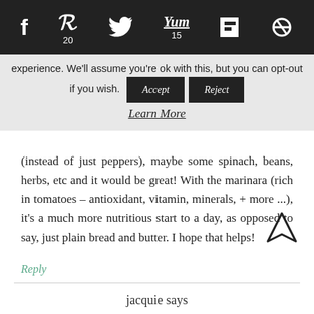Social share bar with icons: f (Facebook), Pinterest (20), Twitter, Yum (15), Flipboard, other
experience. We'll assume you're ok with this, but you can opt-out if you wish. [Accept] [Reject]
Learn More
(instead of just peppers), maybe some spinach, beans, herbs, etc and it would be great! With the marinara (rich in tomatoes – antioxidant, vitamin, minerals, + more ...), it's a much more nutritious start to a day, as opposed to say, just plain bread and butter. I hope that helps!
Reply
jacquie says